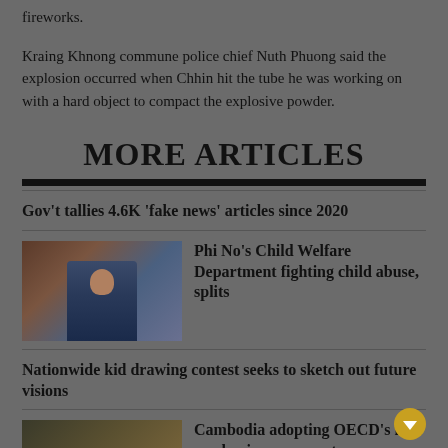fireworks.
Kraing Khnong commune police chief Nuth Phuong said the explosion occurred when Chhin hit the tube he was working on with a hard object to compact the explosive powder.
MORE ARTICLES
Gov't tallies 4.6K ‘fake news’ articles since 2020
[Figure (photo): Photo of a man in a suit at a podium or official setting]
Phi No’s Child Welfare Department fighting child abuse, splits
Nationwide kid drawing contest seeks to sketch out future visions
[Figure (photo): Photo related to Cambodia OECD academic assessments article]
Cambodia adopting OECD’s int’l academic assessments